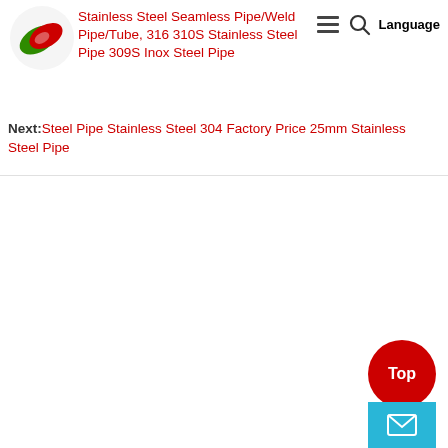Stainless Steel Seamless Pipe/Weld Pipe/Tube, 316 310S Stainless Steel Pipe 309S Inox Steel Pipe
Next: Steel Pipe Stainless Steel 304 Factory Price 25mm Stainless Steel Pipe